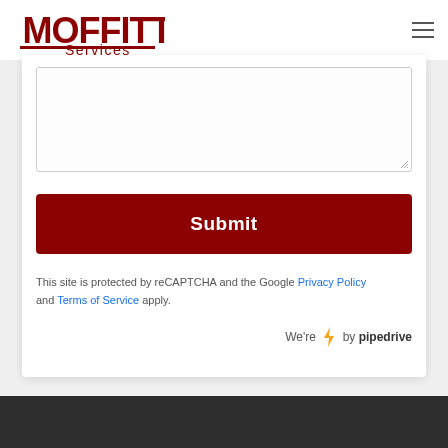Moffitt Services
[Figure (other): Textarea input field (empty) with resize handle in bottom-right corner]
[Figure (other): Submit button — dark red rectangle with white bold text 'Submit']
This site is protected by reCAPTCHA and the Google Privacy Policy and Terms of Service apply.
We're ⚡ by pipedrive